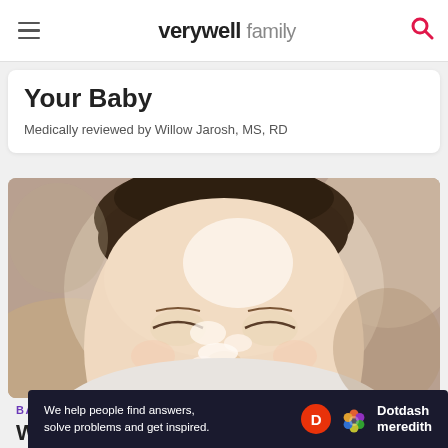verywell family
Your Baby
Medically reviewed by Willow Jarosh, MS, RD
[Figure (photo): Close-up photo of a baby with food on their face, eyes closed, eating messy food]
BABIES
When Is It Safe to Feed a Baby